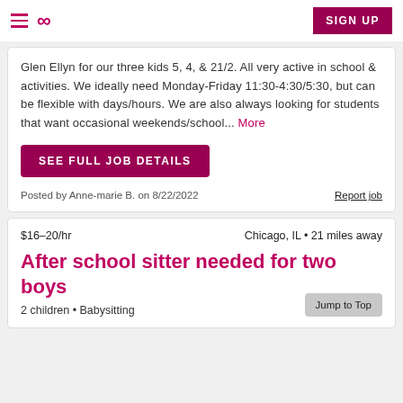SIGN UP
Glen Ellyn for our three kids 5, 4, & 21/2. All very active in school & activities. We ideally need Monday-Friday 11:30-4:30/5:30, but can be flexible with days/hours. We are also always looking for students that want occasional weekends/school... More
SEE FULL JOB DETAILS
Posted by Anne-marie B. on 8/22/2022
Report job
$16–20/hr   Chicago, IL • 21 miles away
After school sitter needed for two boys
2 children • Babysitting
Jump to Top